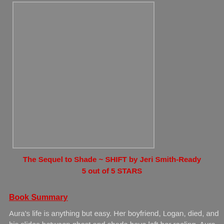[Figure (photo): Book cover image placeholder shown as grey rectangle]
The Sequel to Shade ~ SHIFT by Jeri Smith-Ready
5 out of 5 STARS
Book Summary
Aura's life is anything but easy. Her boyfriend, Logan, died, and his slides between ghost and shade have left her reeling. Aura knows he needs her now more than ever. She